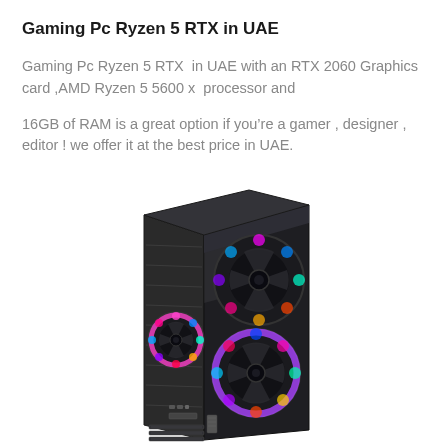Gaming Pc Ryzen 5 RTX in UAE
Gaming Pc Ryzen 5 RTX  in UAE with an RTX 2060 Graphics card ,AMD Ryzen 5 5600 x  processor and
16GB of RAM is a great option if you’re a gamer , designer , editor ! we offer it at the best price in UAE.
[Figure (photo): Black gaming PC tower case with RGB fans (two large front-facing RGB fans and one side RGB fan visible through tempered glass panel). The case is dark/black with a mesh front and glass side panel.]